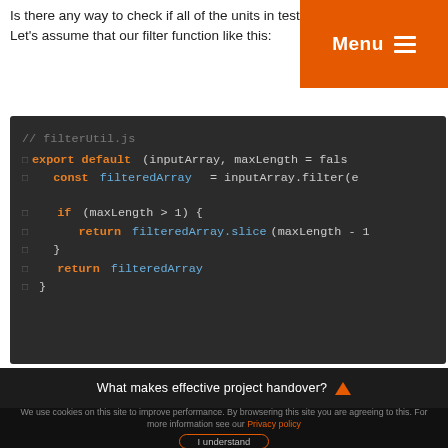Is there any way to check if all of the units in tested? Let's assume that our filter function like this:
Menu ≡
[Figure (screenshot): Code block showing JavaScript filterUtil.js file with export default function that filters an array with maxLength parameter]
What makes effective project handover?
We use cookies on this site to improve performance. By browsering this site you are agreeing to this. For more information see our Privacy policy
I understand